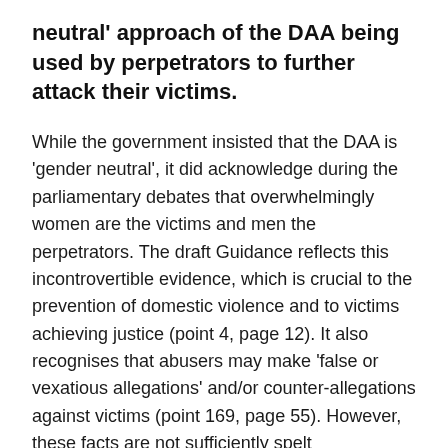neutral' approach of the DAA being used by perpetrators to further attack their victims.
While the government insisted that the DAA is 'gender neutral', it did acknowledge during the parliamentary debates that overwhelmingly women are the victims and men the perpetrators. The draft Guidance reflects this incontrovertible evidence, which is crucial to the prevention of domestic violence and to victims achieving justice (point 4, page 12). It also recognises that abusers may make 'false or vexatious allegations' and/or counter-allegations against victims (point 169, page 55). However, these facts are not sufficiently spelt